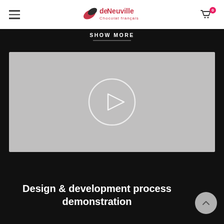deNeuville Chocolat français
SHOW MORE
[Figure (screenshot): Video thumbnail with gray background and a circular play button in the center]
Design & development process demonstration